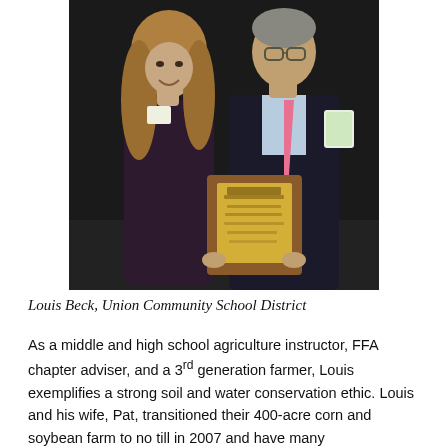[Figure (photo): Two people standing together, a young woman with long curly hair wearing a dark dress, and an older man in a dark suit with a pink tie holding a wooden award plaque. Dark background.]
Louis Beck, Union Community School District
As a middle and high school agriculture instructor, FFA chapter adviser, and a 3rd generation farmer, Louis exemplifies a strong soil and water conservation ethic. Louis and his wife, Pat, transitioned their 400-acre corn and soybean farm to no till in 2007 and have many